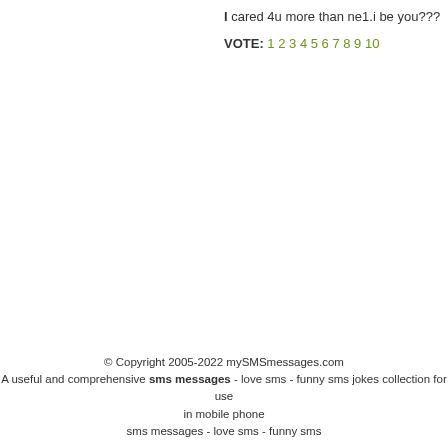I cared 4u more than ne1.i be you???
VOTE: 1 2 3 4 5 6 7 8 9 10
© Copyright 2005-2022 mySMSmessages.com
A useful and comprehensive sms messages - love sms - funny sms jokes collection for use in mobile phone
sms messages - love sms - funny sms